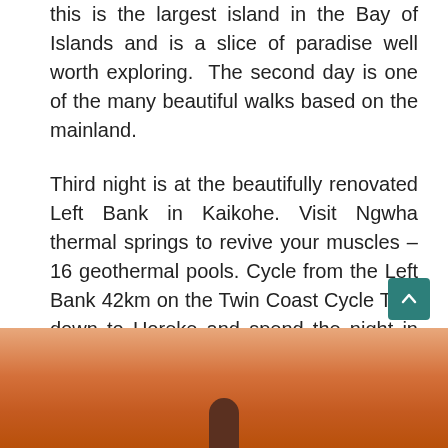this is the largest island in the Bay of Islands and is a slice of paradise well worth exploring.  The second day is one of the many beautiful walks based on the mainland.
Third night is at the beautifully renovated Left Bank in Kaikohe. Visit Ngwha thermal springs to revive your muscles – 16 geothermal pools. Cycle from the Left Bank 42km on the Twin Coast Cycle Trail down to Horeke and spend the night in the House over the Water perched on the edge of the Hokianga Harbour.  Step back in time and enjoy another glorious sunset.
[Figure (photo): Sunset photo showing warm orange and pink sky tones with what appears to be a silhouetted figure at the bottom center]